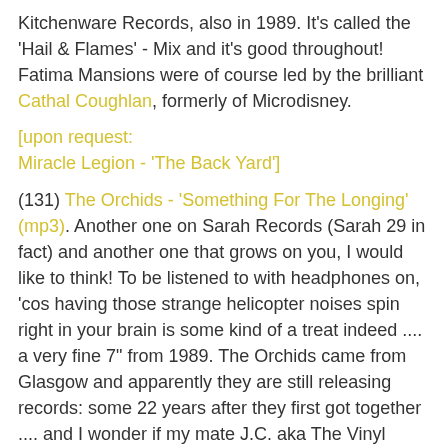Kitchenware Records, also in 1989. It's called the 'Hail & Flames' - Mix and it's good throughout! Fatima Mansions were of course led by the brilliant Cathal Coughlan, formerly of Microdisney.
[upon request:
Miracle Legion - 'The Back Yard']
(131) The Orchids - 'Something For The Longing' (mp3). Another one on Sarah Records (Sarah 29 in fact) and another one that grows on you, I would like to think! To be listened to with headphones on, 'cos having those strange helicopter noises spin right in your brain is some kind of a treat indeed .... a very fine 7" from 1989. The Orchids came from Glasgow and apparently they are still releasing records: some 22 years after they first got together .... and I wonder if my mate J.C. aka The Vinyl Villain has ever had the chance to see them playing live in or around his area? Most impressive homepages to be found here (The Orchids) and here (The Vinyl Villain).
[upon request: